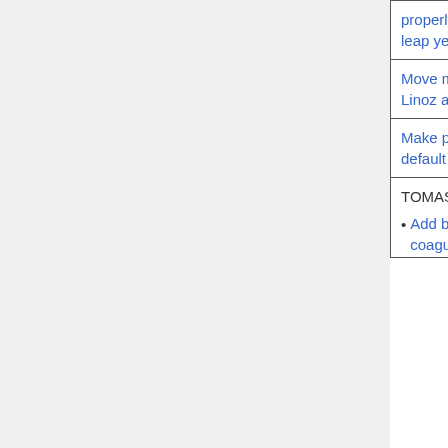| Feature/Update | Contributors | Type |
| --- | --- | --- |
| properly span leap year days |  |  |
| Move module-level variables from Linoz and MODIS LAI [ext] | Haipeng Lin (PKU) | Structural |
| Make polar bromine explosion the default option in Hg simulation | Colin Thackray (Harvard) Jenny Fisher (Wollongong) | Science |
| TOMAS updates
• Add biomass burning subgrid coagulation | Emily Ramnarine (Colorado State) Jeff Pierce (Colorado State) | Science |